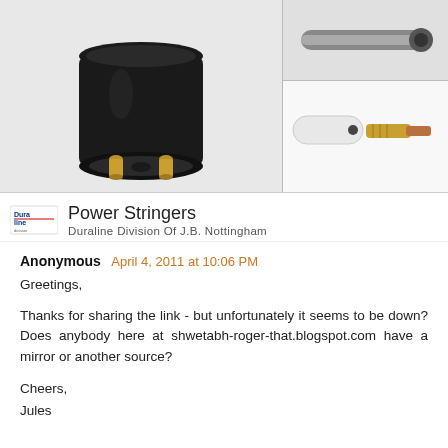[Figure (photo): Left: black electrical connector/plug with gold pins viewed from below. Top-right: partial view of an electrical cable/connector. Bottom-right: white cylindrical component next to a gold and copper connector piece.]
Power Stringers
Duraline Division Of J.B. Nottingham
Anonymous April 4, 2011 at 10:06 PM
Greetings,

Thanks for sharing the link - but unfortunately it seems to be down? Does anybody here at shwetabh-roger-that.blogspot.com have a mirror or another source?

Cheers,
Jules